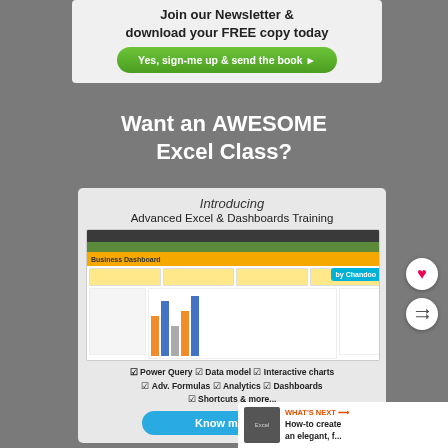[Figure (screenshot): Top newsletter sign-up banner with free book offer and green button saying 'Yes, sign-me up & send the book']
Want an AWESOME Excel Class?
[Figure (screenshot): Card advertising Advanced Excel & Dashboards Training by Chandoo, showing a Business Dashboard screenshot, feature list including Power Query, Data model, Interactive charts, Adv. Formulas, Analytics, Dashboards, Shortcuts & more, and a 'Know more' button]
Power Query  Data model  Interactive charts  Adv. Formulas  Analytics  Dashboards  Shortcuts & more...
WHAT'S NEXT → How-to create an elegant, f...